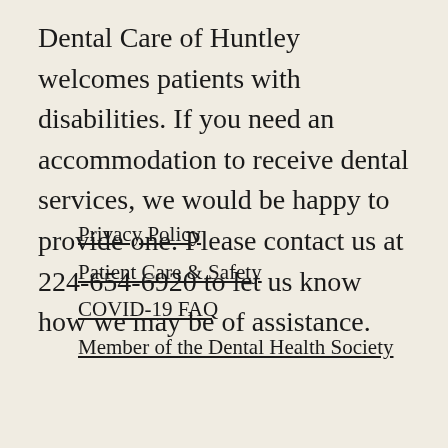Dental Care of Huntley welcomes patients with disabilities. If you need an accommodation to receive dental services, we would be happy to provide one. Please contact us at 224-654-6920 to let us know how we may be of assistance.
Privacy Policy
Patient Care & Safety
COVID-19 FAQ
Member of the Dental Health Society